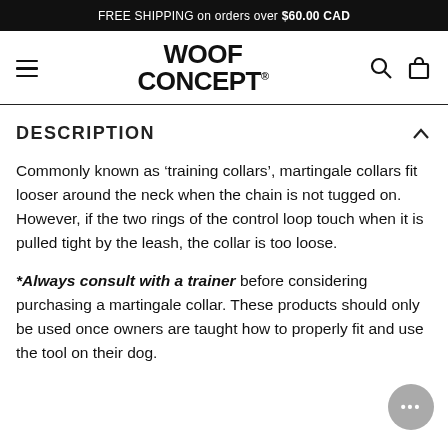FREE SHIPPING on orders over $60.00 CAD
[Figure (logo): WOOF CONCEPT logo with hamburger menu, search and cart icons]
DESCRIPTION
Commonly known as ‘training collars’, martingale collars fit looser around the neck when the chain is not tugged on. However, if the two rings of the control loop touch when it is pulled tight by the leash, the collar is too loose.
*Always consult with a trainer before considering purchasing a martingale collar. These products should only be used once owners are taught how to properly fit and use the tool on their dog.